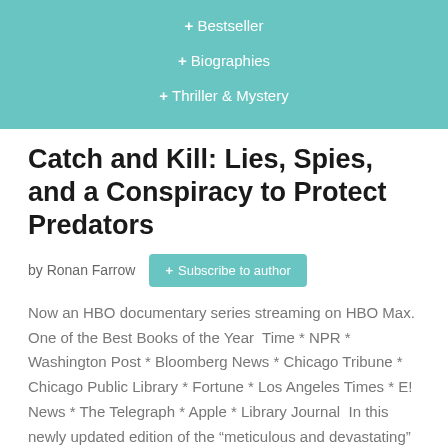+ Bestseller
+ Biographies
+ Thriller & Mystery
Catch and Kill: Lies, Spies, and a Conspiracy to Protect Predators
by Ronan Farrow
+ Subscribe to author
Now an HBO documentary series streaming on HBO Max.  One of the Best Books of the Year  Time * NPR * Washington Post * Bloomberg News * Chicago Tribune * Chicago Public Library * Fortune * Los Angeles Times * E! News * The Telegraph * Apple * Library Journal  In this newly updated edition of the “meticulous and devastating” ...
$3.99  $15.99